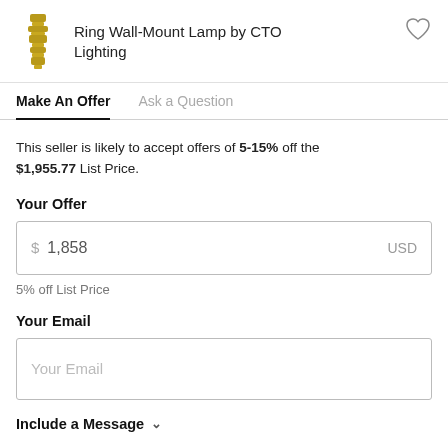Ring Wall-Mount Lamp by CTO Lighting
Make An Offer   Ask a Question
This seller is likely to accept offers of 5-15% off the $1,955.77 List Price.
Your Offer
$ 1,858   USD
5% off List Price
Your Email
Your Email
Include a Message